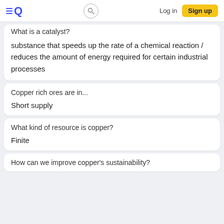EQ  [search]  Log in  Sign up
What is a catalyst?
substance that speeds up the rate of a chemical reaction / reduces the amount of energy required for certain industrial processes
Copper rich ores are in...
Short supply
What kind of resource is copper?
Finite
How can we improve copper's sustainability?